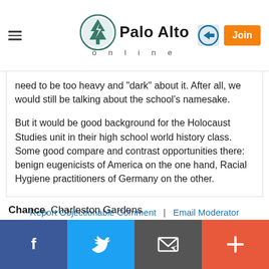Palo Alto online
need to be too heavy and "dark" about it. After all, we would still be talking about the school's namesake.

But it would be good background for the Holocaust Studies unit in their high school world history class. Some good compare and contrast opportunities there: benign eugenicists of America on the one hand, Racial Hygiene practitioners of Germany on the other.
Report Objectionable Comment | Email Moderator
Chance, Charleston Gardens